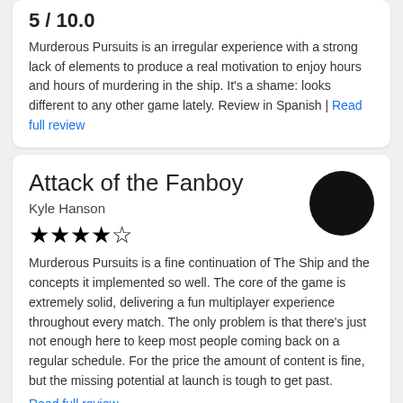5 / 10.0
Murderous Pursuits is an irregular experience with a strong lack of elements to produce a real motivation to enjoy hours and hours of murdering in the ship. It's a shame: looks different to any other game lately. Review in Spanish | Read full review
Attack of the Fanboy
Kyle Hanson
[Figure (other): Black circular logo for Attack of the Fanboy]
★★★½☆ (3.5 stars out of 5)
Murderous Pursuits is a fine continuation of The Ship and the concepts it implemented so well. The core of the game is extremely solid, delivering a fun multiplayer experience throughout every match. The only problem is that there's just not enough here to keep most people coming back on a regular schedule. For the price the amount of content is fine, but the missing potential at launch is tough to get past.
Read full review